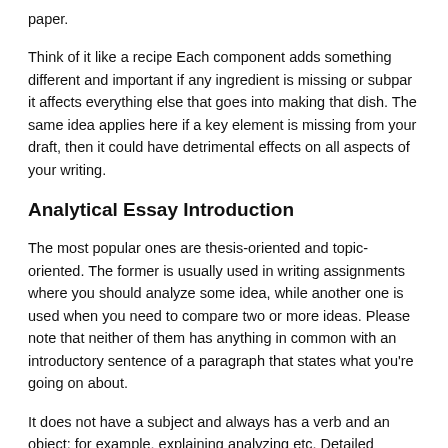paper.
Think of it like a recipe Each component adds something different and important if any ingredient is missing or subpar it affects everything else that goes into making that dish. The same idea applies here if a key element is missing from your draft, then it could have detrimental effects on all aspects of your writing.
Analytical Essay Introduction
The most popular ones are thesis-oriented and topic-oriented. The former is usually used in writing assignments where you should analyze some idea, while another one is used when you need to compare two or more ideas. Please note that neither of them has anything in common with an introductory sentence of a paragraph that states what you're going on about.
It does not have a subject and always has a verb and an object: for example, explaining analyzing etc. Detailed information on how to construct a good thesis statement can be found in our guide How to Write an Analytical Essay.
Thesis Statement